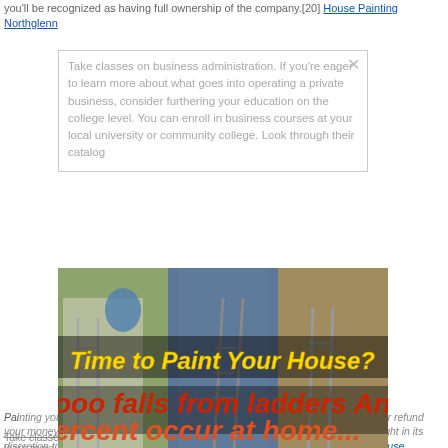you'll be recognized as having full ownership of the company.[20] House Painting Northglenn
Take classes on business administration. If you're eager to learn more about what goes into operating a private business, consider furthering your education on the college level. You can enroll in business courses at your local university or community college. Look through their catalog
[Figure (photo): Advertisement image showing three photos of house painting scenes with ladders, overlaid with bold text 'Time to Paint Your House?' in yellow and 'ooo falls from ladders Annu' and 'ercent occur at home...' in large red/orange letters]
Painting your house can showcase your interior... and... to any... ys of pu... paint or refund your money based on our return policy (Lowes.com/return). Lowe's reserves the right in its discretion to limit this pledge in the event of suspected fraud or abuse. US only. House Painting Northglenn CO
Take classes on business administration. If you're eager to learn more about what goes into operating a private